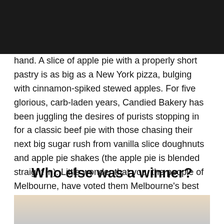hand. A slice of apple pie with a properly short pastry is as big as a New York pizza, bulging with cinnamon-spiked stewed apples. For five glorious, carb-laden years, Candied Bakery has been juggling the desires of purists stopping in for a classic beef pie with those chasing their next big sugar rush from vanilla slice doughnuts and apple pie shakes (the apple pie is blended straight in). Little wonder that you, the people of Melbourne, have voted them Melbourne's best bakery for 2017.
Who else was a winner?
[Figure (photo): Partial photo of food item, cropped at bottom of page]